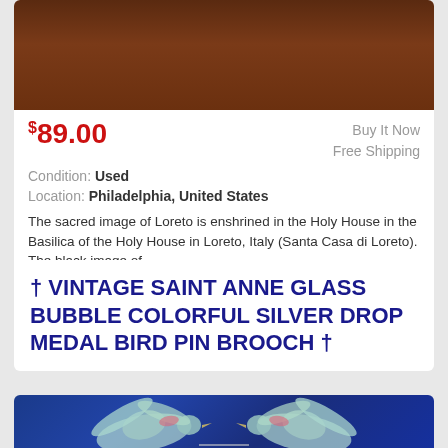[Figure (photo): Top portion of a product listing photo showing a dark brownish object on a reddish-brown background]
$89.00
Buy It Now
Free Shipping
Condition: Used
Location: Philadelphia, United States
The sacred image of Loreto is enshrined in the Holy House in the Basilica of the Holy House in Loreto, Italy (Santa Casa di Loreto). The black image of ...
more
† VINTAGE SAINT ANNE GLASS BUBBLE COLORFUL SILVER DROP MEDAL BIRD PIN BROOCH †
[Figure (photo): Photo of two colorful bird pin brooches facing each other on a blue background, featuring iridescent pastel-colored birds with spread wings and pink accents]